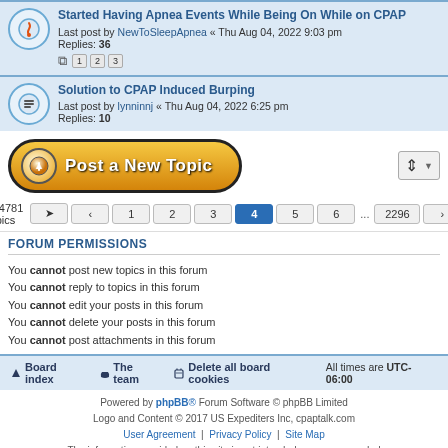Started Having Apnea Events While Being On While on CPAP — Last post by NewToSleepApnea « Thu Aug 04, 2022 9:03 pm — Replies: 36
Solution to CPAP Induced Burping — Last post by lynninnj « Thu Aug 04, 2022 6:25 pm — Replies: 10
[Figure (screenshot): Post a New Topic button (orange gradient with arrow icon) and sort dropdown]
114781 topics — pagination: 1 2 3 4 5 6 ... 2296
FORUM PERMISSIONS
You cannot post new topics in this forum
You cannot reply to topics in this forum
You cannot edit your posts in this forum
You cannot delete your posts in this forum
You cannot post attachments in this forum
Board index | The team | Delete all board cookies | All times are UTC-06:00
Powered by phpBB® Forum Software © phpBB Limited. Logo and Content © 2017 US Expediters Inc, cpaptalk.com. User Agreement | Privacy Policy | Site Map. The information provided on this site is not intended nor recommended as a substitute for professional medical advice.